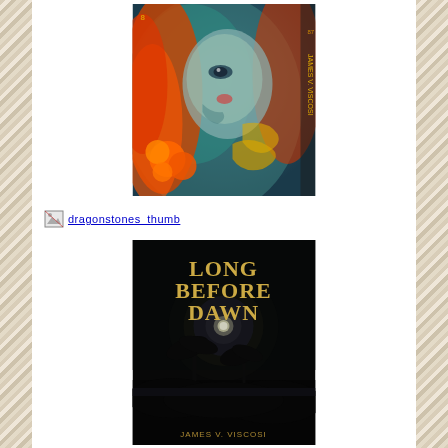[Figure (illustration): Colorful book cover with an artistic portrait of a woman with vibrant colors including orange, teal, and red. Small text visible on the right spine area.]
[Figure (other): Broken image placeholder link showing 'dragonstones_thumb' in blue underlined text with a broken image icon]
[Figure (illustration): Book cover for 'Long Before Dawn' by James V. Viscosi showing a dark nighttime scene with a full moon glowing above silhouetted palm trees and landscape. Title text in gold/yellow serif font.]